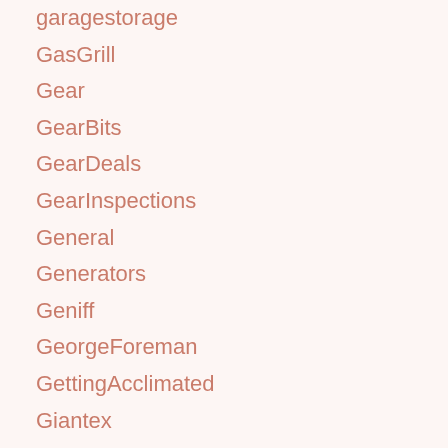garagestorage
GasGrill
Gear
GearBits
GearDeals
GearInspections
General
Generators
Geniff
GeorgeForeman
GettingAcclimated
Giantex
Gifts
GiftsForHer
GiftsForHim